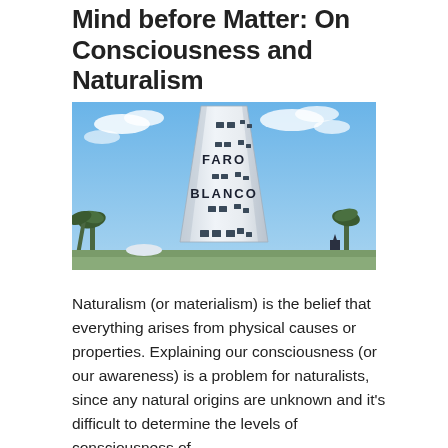Mind before Matter: On Consciousness and Naturalism
[Figure (photo): Photograph of Faro Blanco lighthouse, a tall white conical lighthouse tower with the words FARO and BLANCO painted on it, multiple square windows, set against a blue sky with palm trees at the base.]
Naturalism (or materialism) is the belief that everything arises from physical causes or properties. Explaining our consciousness (or our awareness) is a problem for naturalists, since any natural origins are unknown and it's difficult to determine the levels of consciousness of